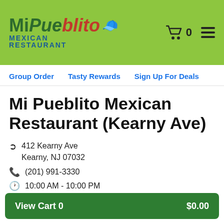[Figure (logo): Mi Pueblito Mexican Restaurant logo with green and red text on green background, sombrero graphic]
Mi Pueblito Mexican Restaurant - Cart: 0
Group Order  Tasty Rewards  Sign Up For Deals
Mi Pueblito Mexican Restaurant (Kearny Ave)
412 Kearny Ave Kearny, NJ 07032
(201) 991-3330
10:00 AM - 10:00 PM
View Cart 0  $0.00